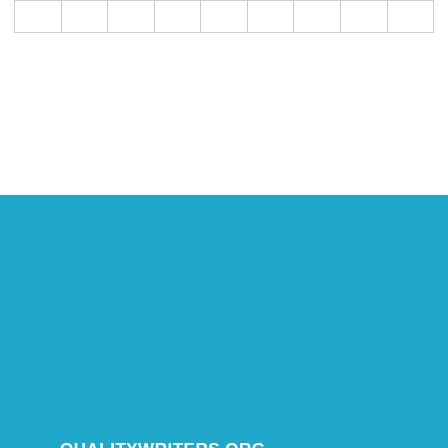|   |   |   |   |   |   |   |   |   |
[Figure (logo): QualityWriters.org logo with orange medal/badge icon, white 'Quality' text and orange 'Writers' text on teal background]
QUALITYWRITERS.ORG
There is no academic assignment we cannot deal with.